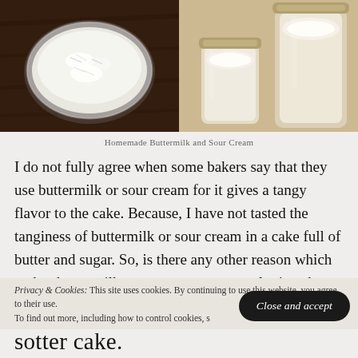[Figure (photo): Two food photos side by side: left shows a glass bowl with grated white cheese on a dark wooden surface; right shows mason jars with white cream/buttermilk on a tan background]
Homemade Buttermilk and Sour Cream
I do not fully agree when some bakers say that they use buttermilk or sour cream for it gives a tangy flavor to the cake. Because, I have not tasted the tanginess of buttermilk or sour cream in a cake full of butter and sugar. So, is there any other reason which makes buttermilk or sour cream so popular in cakes
Privacy & Cookies: This site uses cookies. By continuing to use this website, you agree to their use.
To find out more, including how to control cookies, s…
sotter cake.